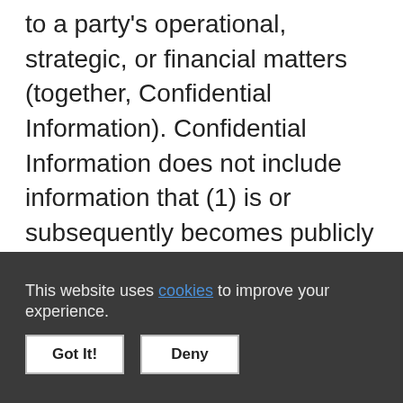to a party's operational, strategic, or financial matters (together, Confidential Information). Confidential Information does not include information that (1) is or subsequently becomes publicly available (through no fault of the recipient); (2) the recipient lawfully possesses before its disclosure; (3) is independently developed without reliance on the discloser's
This website uses cookies to improve your experience.
Got It!
Deny